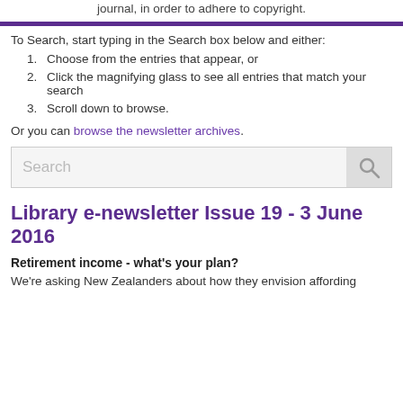journal, in order to adhere to copyright.
To Search, start typing in the Search box below and either:
Choose from the entries that appear, or
Click the magnifying glass to see all entries that match your search
Scroll down to browse.
Or you can browse the newsletter archives.
[Figure (screenshot): Search box with magnifying glass icon]
Library e-newsletter Issue 19 - 3 June 2016
Retirement income - what's your plan?
We're asking New Zealanders about how they envision affording